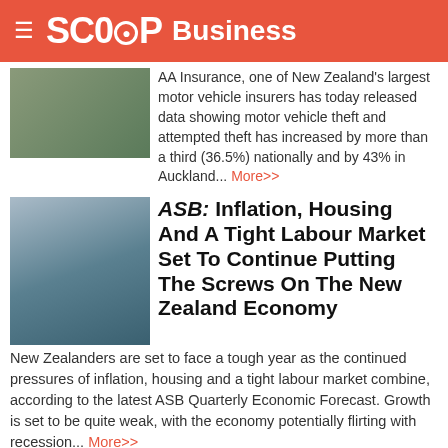SCOOP Business
AA Insurance, one of New Zealand's largest motor vehicle insurers has today released data showing motor vehicle theft and attempted theft has increased by more than a third (36.5%) nationally and by 43% in Auckland... More>>
ASB: Inflation, Housing And A Tight Labour Market Set To Continue Putting The Screws On The New Zealand Economy
New Zealanders are set to face a tough year as the continued pressures of inflation, housing and a tight labour market combine, according to the latest ASB Quarterly Economic Forecast. Growth is set to be quite weak, with the economy potentially flirting with recession... More>>
FMA: Directs Kalkine To Stop Making Outgoing Sales Calls To...